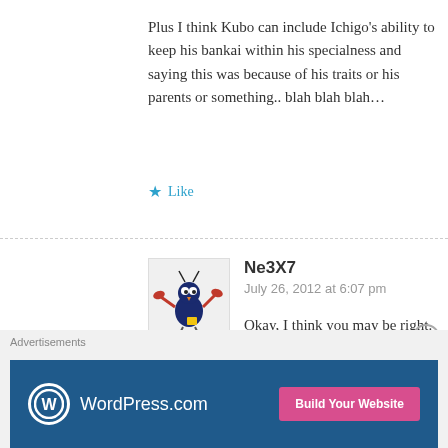Plus I think Kubo can include Ichigo's ability to keep his bankai within his specialness and saying this was because of his traits or his parents or something.. blah blah blah…
Like
Ne3X7
July 26, 2012 at 6:07 pm
[Figure (illustration): Avatar image of a cartoon crab-bird creature with red claws on a white background]
Reply
Okay, I think you may be right. But, how dare Kubo kill all the captain? That's impossible!
Advertisements
[Figure (screenshot): WordPress.com advertisement banner with dark blue background, WordPress logo on left and 'Build Your Website' pink button on right]